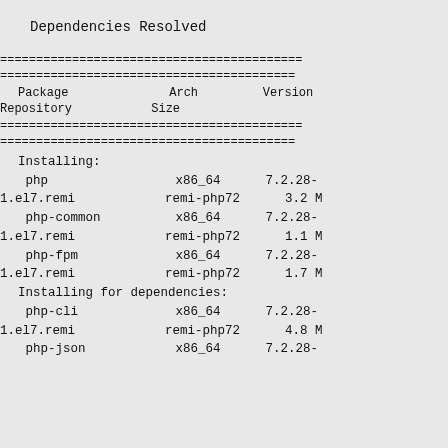Dependencies Resolved
========================================== =========================================
 Package              Arch         Version
Repository           Size
========================================== =========================================
Installing:
 php                 x86_64       7.2.28-
1.el7.remi            remi-php72        3.2 M
 php-common           x86_64       7.2.28-
1.el7.remi            remi-php72        1.1 M
 php-fpm              x86_64       7.2.28-
1.el7.remi            remi-php72        1.7 M
Installing for dependencies:
 php-cli              x86_64       7.2.28-
1.el7.remi            remi-php72        4.8 M
 php-json             x86_64       7.2.28-